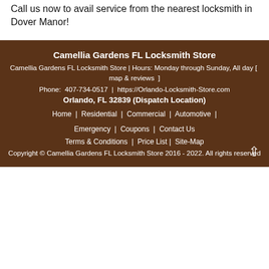Call us now to avail service from the nearest locksmith in Dover Manor!
Camellia Gardens FL Locksmith Store
Camellia Gardens FL Locksmith Store | Hours: Monday through Sunday, All day [ map & reviews ]
Phone: 407-734-0517 | https://Orlando-Locksmith-Store.com
Orlando, FL 32839 (Dispatch Location)
Home | Residential | Commercial | Automotive | Emergency | Coupons | Contact Us
Terms & Conditions | Price List | Site-Map
Copyright © Camellia Gardens FL Locksmith Store 2016 - 2022. All rights reserved